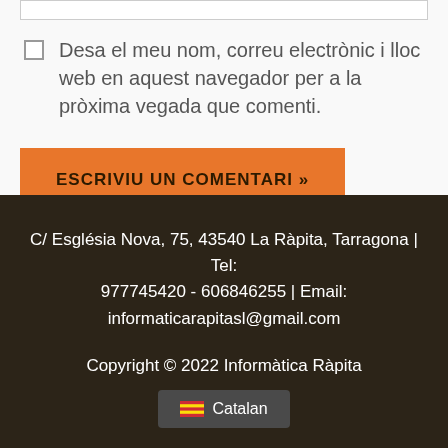Desa el meu nom, correu electrònic i lloc web en aquest navegador per a la pròxima vegada que comenti.
ESCRIVIU UN COMENTARI »
C/ Església Nova, 75, 43540 La Ràpita, Tarragona | Tel: 977745420 - 606846255 | Email: informaticarapitasl@gmail.com
Copyright © 2022 Informàtica Ràpita
Catalan